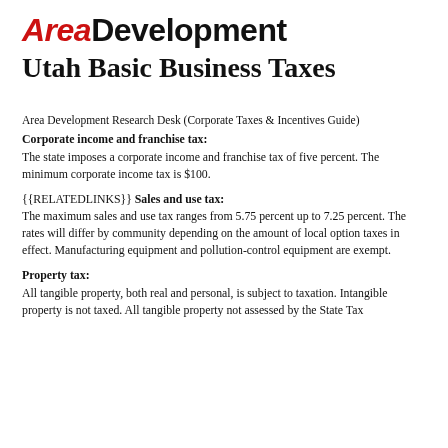AREA DEVELOPMENT
Utah Basic Business Taxes
Area Development Research Desk (Corporate Taxes & Incentives Guide)
Corporate income and franchise tax:
The state imposes a corporate income and franchise tax of five percent. The minimum corporate income tax is $100.
{{RELATEDLINKS}} Sales and use tax: The maximum sales and use tax ranges from 5.75 percent up to 7.25 percent. The rates will differ by community depending on the amount of local option taxes in effect. Manufacturing equipment and pollution-control equipment are exempt.
Property tax:
All tangible property, both real and personal, is subject to taxation. Intangible property is not taxed. All tangible property not assessed by the State Tax